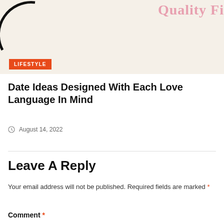[Figure (illustration): Partial decorative arc/circle shape on left side, and partial pink logo text 'Quality Fi...' visible on top right, over a light beige background area]
LIFESTYLE
Date Ideas Designed With Each Love Language In Mind
August 14, 2022
Leave A Reply
Your email address will not be published. Required fields are marked *
Comment *